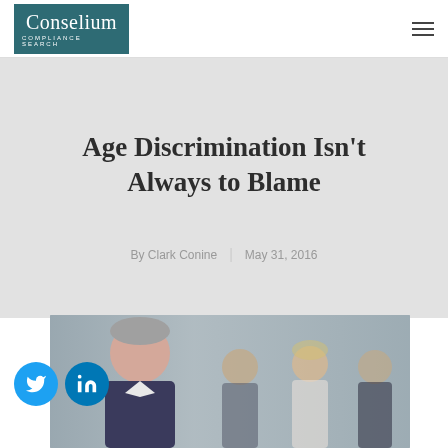Conselium Compliance Search
Age Discrimination Isn't Always to Blame
By Clark Conine | May 31, 2016
[Figure (photo): Older professional smiling in foreground with younger colleagues blurred in background]